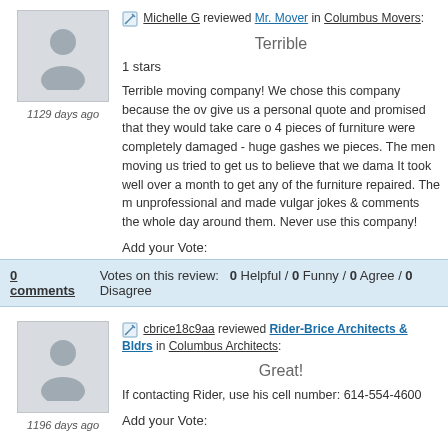Michelle G reviewed Mr. Mover in Columbus Movers:
Terrible
1 stars
Terrible moving company! We chose this company because the ov... give us a personal quote and promised that they would take care o... 4 pieces of furniture were completely damaged - huge gashes we... pieces. The men moving us tried to get us to believe that we dama... It took well over a month to get any of the furniture repaired. The m... unprofessional and made vulgar jokes & comments the whole day... around them. Never use this company!
Add your Vote:
0 comments    Votes on this review:  0 Helpful / 0 Funny / 0 Agree / 0 Disagree
cbrice18c9aa reviewed Rider-Brice Architects & Bldrs in Columbus Architects:
Great!
If contacting Rider, use his cell number: 614-554-4600
Add your Vote: